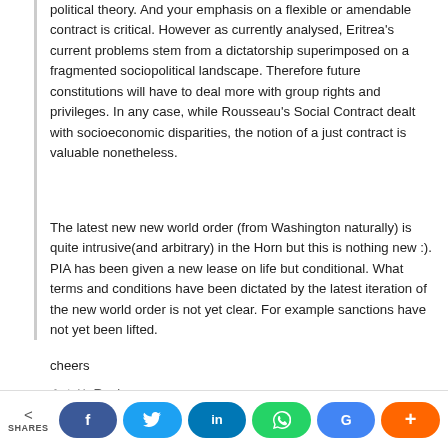political theory. And your emphasis on a flexible or amendable contract is critical. However as currently analysed, Eritrea's current problems stem from a dictatorship superimposed on a fragmented sociopolitical landscape. Therefore future constitutions will have to deal more with group rights and privileges. In any case, while Rousseau's Social Contract dealt with socioeconomic disparities, the notion of a just contract is valuable nonetheless.
The latest new new world order (from Washington naturally) is quite intrusive(and arbitrary) in the Horn but this is nothing new :). PIA has been given a new lease on life but conditional. What terms and conditions have been dictated by the latest iteration of the new world order is not yet clear. For example sanctions have not yet been lifted.
cheers
said ➜ Aligaz G